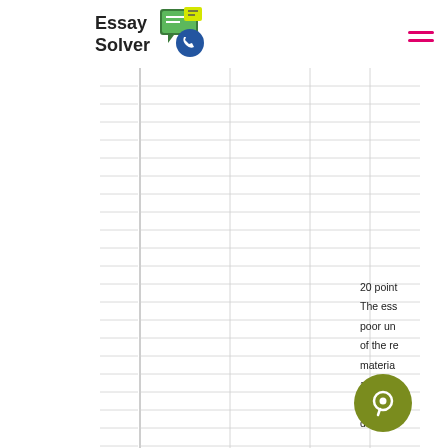Essay Solver
[Figure (other): EssaySolver logo with phone and speech bubble icon]
[Figure (illustration): Lined notebook paper background with horizontal gray lines and vertical column lines]
20 point
The ess
poor un
of the re
materia
address
orrec
ddress